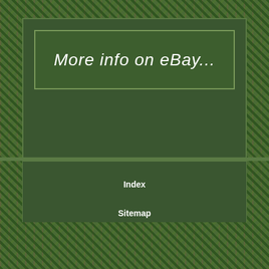More info on eBay...
Index
Sitemap
Contact Form
Privacy Policy
Terms of Use